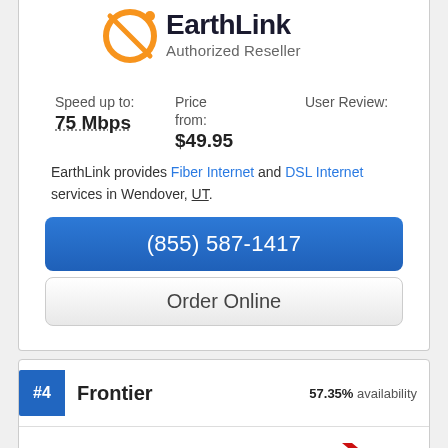[Figure (logo): EarthLink Authorized Reseller logo with orange orbit graphic and dark text]
Speed up to:
75 Mbps
Price from:
$49.95
User Review:
EarthLink provides Fiber Internet and DSL Internet services in Wendover, UT.
(855) 587-1417
Order Online
#4  Frontier  57.35% availability
[Figure (logo): Frontier logo in red block letters partially visible at bottom]